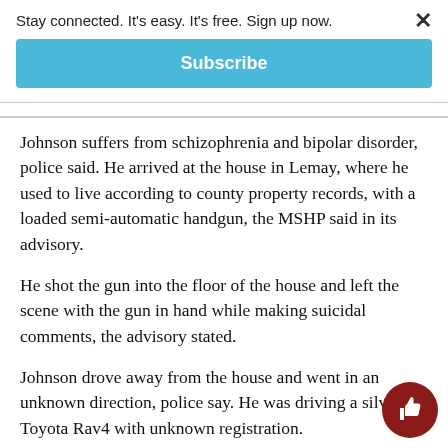Stay connected. It's easy. It's free. Sign up now.
Subscribe
Johnson suffers from schizophrenia and bipolar disorder, police said. He arrived at the house in Lemay, where he used to live according to county property records, with a loaded semi-automatic handgun, the MSHP said in its advisory.
He shot the gun into the floor of the house and left the scene with the gun in hand while making suicidal comments, the advisory stated.
Johnson drove away from the house and went in an unknown direction, police say. He was driving a silver Toyota Rav4 with unknown registration.
He is 5 feet, 7 inches, 160 pounds and has brown hair, a